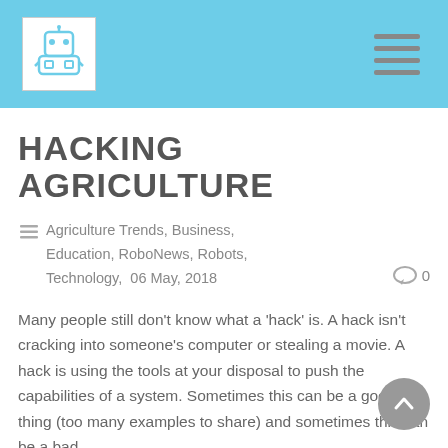[Figure (logo): Website logo with robot/Roboris icon in white square box on blue header bar]
HACKING AGRICULTURE
Agriculture Trends, Business, Education, RoboNews, Robots, Technology,  06 May, 2018    0
Many people still don't know what a 'hack' is. A hack isn't cracking into someone's computer or stealing a movie. A hack is using the tools at your disposal to push the capabilities of a system. Sometimes this can be a good thing (too many examples to share) and sometimes this can be a bad...
Read More →